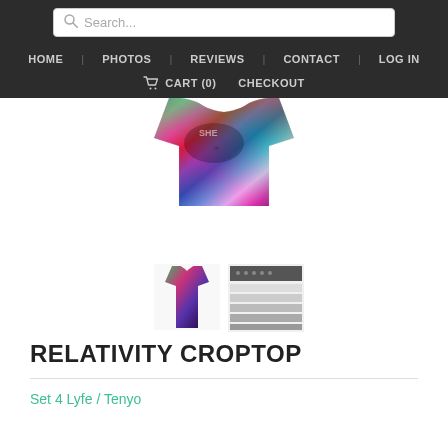Search... | HOME | PHOTOS | REVIEWS | CONTACT | LOG IN | CART (0) | CHECKOUT
[Figure (photo): Product image of a colorful abstract-print crop top (Relativity Croptop), shown from the front with vibrant multicolored psychedelic pattern]
[Figure (photo): Small thumbnail of the Relativity Croptop product front view]
[Figure (photo): Small thumbnail of the Relativity Croptop size chart]
RELATIVITY CROPTOP
Set 4 Lyfe / Tenyo